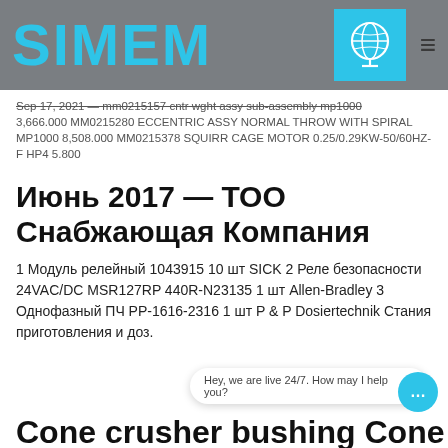SIMEM
Sep 17, 2021 — mm0215157 cntr wght assy sub-assembly mp1000 3,666.000 MM0215280 ECCENTRIC ASSY NORMAL THROW WITH SPIRAL MP1000 8,508.000 MM0215378 SQUIRR CAGE MOTOR 0.25/0.29KW-50/60HZ-F HP4 5.800
Июнь 2017 — ТОО Снабжающая Компания
1 Модуль релейный 1043915 10 шт SICK 2 Реле безопасности 24VAC/DC MSR127RP 440R-N23135 1 шт Allen-Bradley 3 Однофазный ПЧ РР-1616-2316 1 шт P & P Dosiertechnik Стания приготовления и доз.
Cone crusher bushing Cone